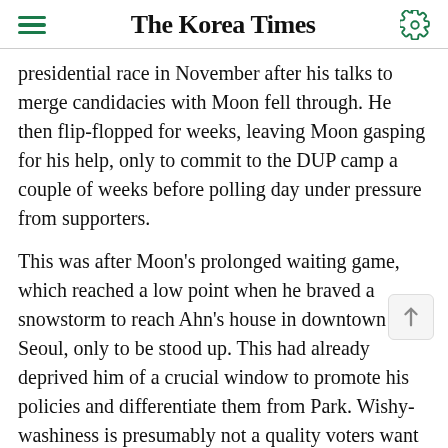The Korea Times
presidential race in November after his talks to merge candidacies with Moon fell through. He then flip-flopped for weeks, leaving Moon gasping for his help, only to commit to the DUP camp a couple of weeks before polling day under pressure from supporters.
This was after Moon's prolonged waiting game, which reached a low point when he braved a snowstorm to reach Ahn's house in downtown Seoul, only to be stood up. This had already deprived him of a crucial window to promote his policies and differentiate them from Park. Wishy-washiness is presumably not a quality voters want to find in their leaders.
And many conservative voters may have been put off by Moon's stubborn defense of the "Sunshine Policy"